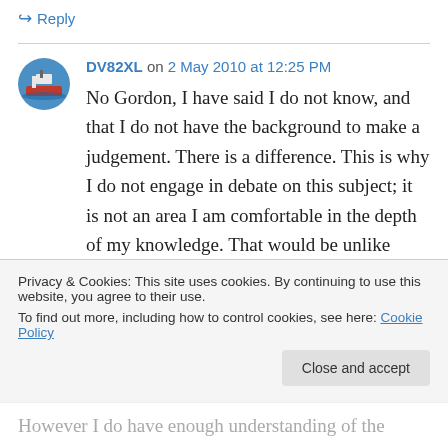↳ Reply
DV82XL on 2 May 2010 at 12:25 PM
No Gordon, I have said I do not know, and that I do not have the background to make a judgement. There is a difference. This is why I do not engage in debate on this subject; it is not an area I am comfortable in the depth of my knowledge. That would be unlike others on the
Privacy & Cookies: This site uses cookies. By continuing to use this website, you agree to their use.
To find out more, including how to control cookies, see here: Cookie Policy
Close and accept
However I do have enough understanding of the